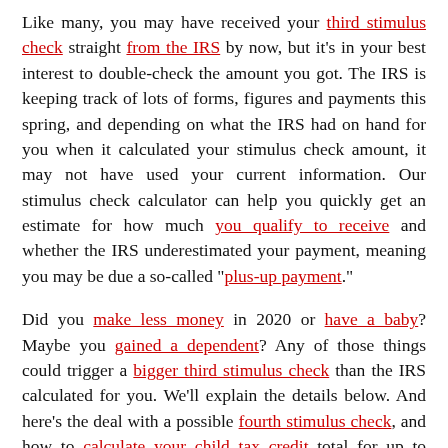Like many, you may have received your third stimulus check straight from the IRS by now, but it's in your best interest to double-check the amount you got. The IRS is keeping track of lots of forms, figures and payments this spring, and depending on what the IRS had on hand for you when it calculated your stimulus check amount, it may not have used your current information. Our stimulus check calculator can help you quickly get an estimate for how much you qualify to receive and whether the IRS underestimated your payment, meaning you may be due a so-called "plus-up payment."
Did you make less money in 2020 or have a baby? Maybe you gained a dependent? Any of those things could trigger a bigger third stimulus check than the IRS calculated for you. We'll explain the details below. And here's the deal with a possible fourth stimulus check, and how to calculate your child tax credit total for up to $3,600 per kid. This story is frequently